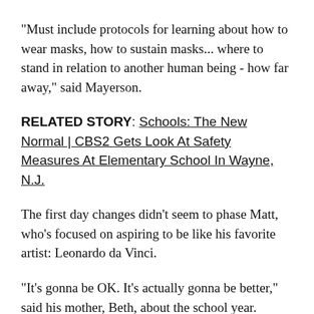"Must include protocols for learning about how to wear masks, how to sustain masks... where to stand in relation to another human being - how far away," said Mayerson.
RELATED STORY: Schools: The New Normal | CBS2 Gets Look At Safety Measures At Elementary School In Wayne, N.J.
The first day changes didn't seem to phase Matt, who's focused on aspiring to be like his favorite artist: Leonardo da Vinci.
"It's gonna be OK. It's actually gonna be better," said his mother, Beth, about the school year.
For closing remarks it would be for the school to d...